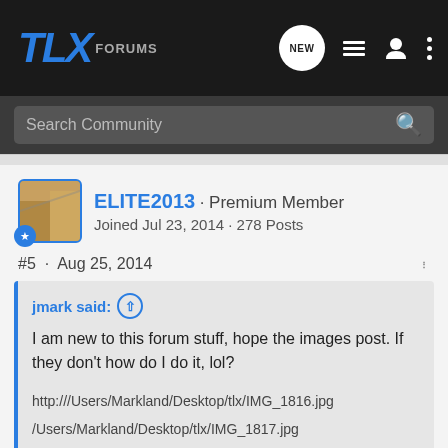TLX Forums
Search Community
ELITE2013 · Premium Member
Joined Jul 23, 2014 · 278 Posts
#5 · Aug 25, 2014
jmark said: ↑
I am new to this forum stuff, hope the images post. If they don't how do I do it, lol?

http:///Users/Markland/Desktop/tlx/IMG_1816.jpg
/Users/Markland/Desktop/tlx/IMG_1817.jpg
/Users/Markland/Desktop/tlx/IMG_1818.jpg
/Users/Markland/Desktop/tlx/IMG_1819.jpg
Click to expand...